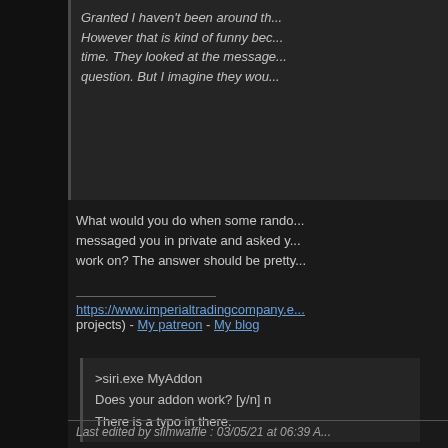Granted I haven't been around th... However that is kind of funny bec... time. They looked at the message... question. But I imagine they wou...
What would you do when some rando... messaged you in private and asked y... work on? The answer should be pretty...
https://www.imperialtradingcompany.e... projects) - My patreon - My blog
>siri.exe MyAddon
Does your addon work? [y/n] n
There is a typo in there.
03/05/21, 06:34 AM
slimwaffle
Addon Author
Join Date: Mar 2021
Posts: 8
I mean thank you for the link to the p... You are way too closed off to ideas th... Your arguments are gravitating towar... This discussion will go no where with...
Last edited by slimwaffle : 03/05/21 at 06:39 A...